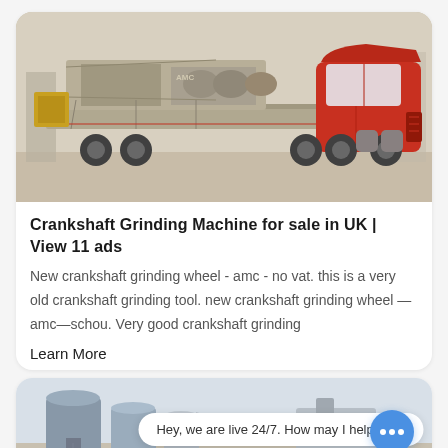[Figure (photo): A large red truck hauling industrial heavy machinery (grinding/mixing equipment) on a flatbed trailer, parked in an industrial yard.]
Crankshaft Grinding Machine for sale in UK | View 11 ads
New crankshaft grinding wheel - amc - no vat. this is a very old crankshaft grinding tool. new crankshaft grinding wheel — amc—schou. Very good crankshaft grinding
Learn More
[Figure (photo): Industrial silos and equipment at a facility, partial view cropped at bottom of page.]
Hey, we are live 24/7. How may I help you?